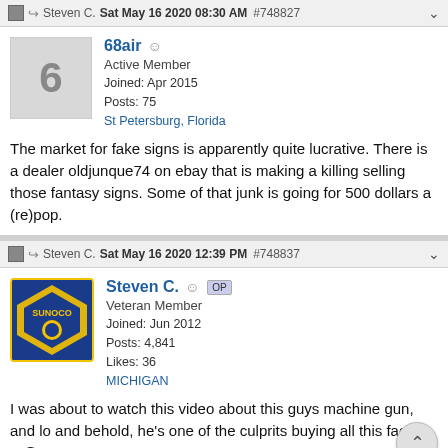Steven C.  Sat May 16 2020 08:30 AM  #748827
68air  Active Member  Joined: Apr 2015  Posts: 75  St Petersburg, Florida
The market for fake signs is apparently quite lucrative. There is a dealer oldjunque74 on ebay that is making a killing selling those fantasy signs. Some of that junk is going for 500 dollars a (re)pop.
Steven C.  Sat May 16 2020 12:39 PM  #748837
Steven C.  OP  Veteran Member  Joined: Jun 2012  Posts: 4,841  Likes: 36  MICHIGAN
I was about to watch this video about this guys machine gun, and lo and behold, he's one of the culprits buying all this face cr@p!! LOL!!!
[Figure (photo): Bottom image strip showing vintage signs including a '76' sign and a 'GARAGE' sign with collectible signage]